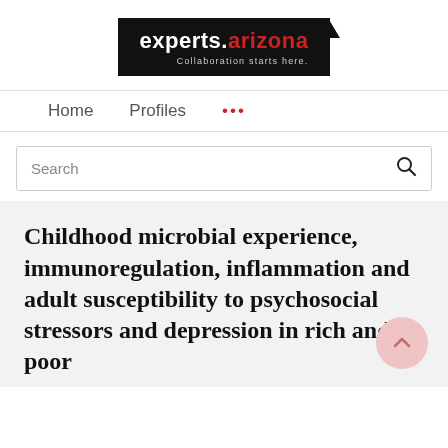[Figure (logo): experts.arizona logo — black box with white text 'experts.' and red text 'arizona', tagline 'Collaboration starts here.']
Home   Profiles   ...
Search
Childhood microbial experience, immunoregulation, inflammation and adult susceptibility to psychosocial stressors and depression in rich and poor